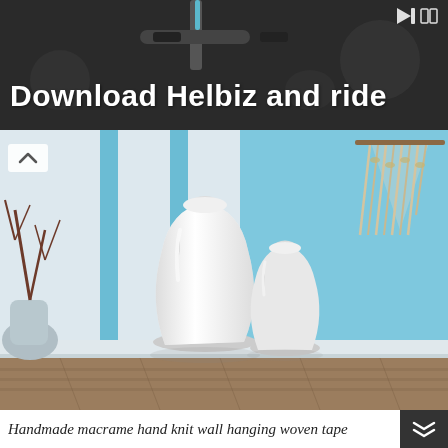[Figure (photo): Advertisement banner showing bicycle handlebar on dark background with text 'Download Helbiz and ride']
[Figure (photo): Interior room scene with white ceramic vases on hardwood floor against light blue wall with vertical stripe paneling and a macrame woven wall hanging tapestry in the upper right corner. Decorative branches visible on the left.]
Handmade macrame hand knit wall hanging woven tape...